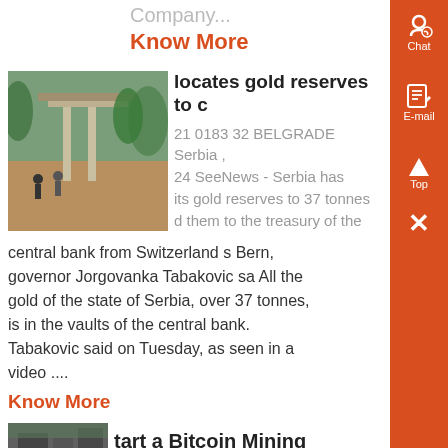Company...
Know More
locates gold reserves to c
21 0183 32 BELGRADE Serbia , 24 SeeNews - Serbia has its gold reserves to 37 tonnes d them to the treasury of the central bank from Switzerland s Bern, governor Jorgovanka Tabakovic sa All the gold of the state of Serbia, over 37 tonnes, is in the vaults of the central bank. Tabakovic said on Tuesday, as seen in a video ....
Know More
tart a Bitcoin Mining Business